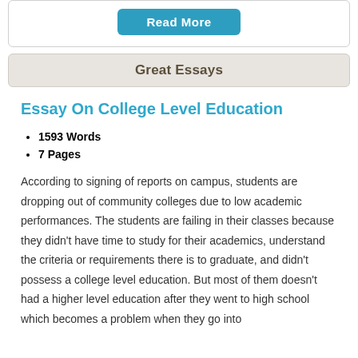[Figure (other): Read More button (teal/blue rounded rectangle)]
Great Essays
Essay On College Level Education
1593 Words
7 Pages
According to signing of reports on campus, students are dropping out of community colleges due to low academic performances. The students are failing in their classes because they didn't have time to study for their academics, understand the criteria or requirements there is to graduate, and didn't possess a college level education. But most of them doesn't had a higher level education after they went to high school which becomes a problem when they go into